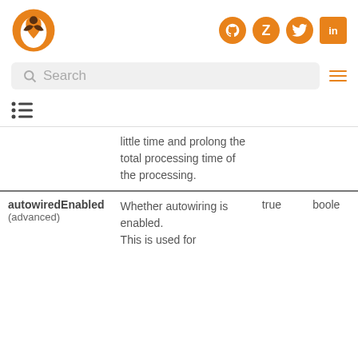Logo and navigation icons: GitHub, Zulip, Twitter, LinkedIn
Search
[Figure (screenshot): Table of contents icon]
| Parameter | Description | Default | Type |
| --- | --- | --- | --- |
|  | little time and prolong the total processing time of the processing. |  |  |
| autowiredEnabled (advanced) | Whether autowiring is enabled. This is used for | true | boole |